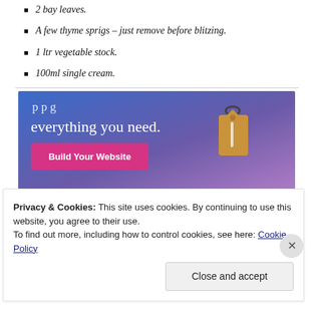2 bay leaves.
A few thyme sprigs – just remove before blitzing.
1 ltr vegetable stock.
100ml single cream.
[Figure (screenshot): Advertisement banner with blue-to-purple gradient background, text 'everything you need.' in white, a pink 'Build Your Website' button, and a tan luggage tag image on the right.]
Privacy & Cookies: This site uses cookies. By continuing to use this website, you agree to their use.
To find out more, including how to control cookies, see here: Cookie Policy
Close and accept